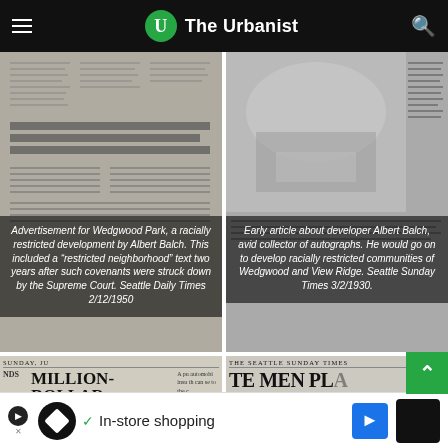The Urbanist
[Figure (photo): Scanned newspaper page showing advertisement for Wedgwood Park, a racially restricted development by Albert Balch.]
Advertisement for Wedgwood Park, a racially restricted development by Albert Balch. This included a “restricted neighborhood” text two years after such covenants were struck down by the Supreme Court. Seattle Daily Times 2/12/1950
[Figure (photo): Scanned newspaper page with illustration showing early article about developer Albert Balch, avid collector of autographs.]
Early article about developer Albert Balch, avid collector of autographs. He would go on to develop racially restricted communities of Wedgwood and View Ridge. Seattle Sunday Times 3/2/1930.
[Figure (photo): Scanned newspaper front page Sunday edition with headline MILLION-DOLLAR PROJECT CALLS FOR 900 HOMES]
[Figure (photo): Scanned Seattle Sunday Times front page with headline TE MEN PLA, subheads ME SOLD and ATWOOD URGES PROMPT BUYING]
In-store shopping